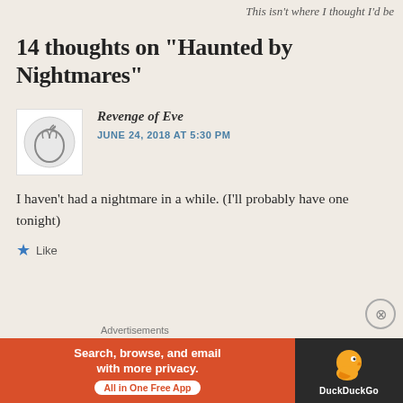This isn't where I thought I'd be
14 thoughts on “Haunted by Nightmares”
Revenge of Eve
JUNE 24, 2018 AT 5:30 PM
I haven’t had a nightmare in a while. (I’ll probably have one tonight)
Like
Advertisements
[Figure (infographic): DuckDuckGo advertisement banner: red section on left with text 'Search, browse, and email with more privacy. All in One Free App', dark section on right with DuckDuckGo duck logo and 'DuckDuckGo' text.]